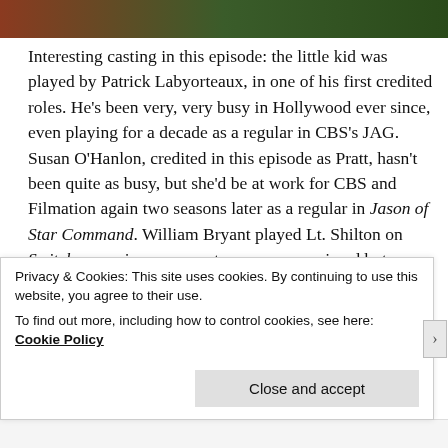[Figure (photo): Partial image bar at top of page showing dark reddish-green toned scene]
Interesting casting in this episode: the little kid was played by Patrick Labyorteaux, in one of his first credited roles. He's been very, very busy in Hollywood ever since, even playing for a decade as a regular in CBS's JAG. Susan O'Hanlon, credited in this episode as Pratt, hasn't been quite as busy, but she'd be at work for CBS and Filmation again two seasons later as a regular in Jason of Star Command. William Bryant played Lt. Shilton on Switch – a series my parents never, ever missed but which has been completely lost to time – the following year
Privacy & Cookies: This site uses cookies. By continuing to use this website, you agree to their use.
To find out more, including how to control cookies, see here: Cookie Policy
Close and accept